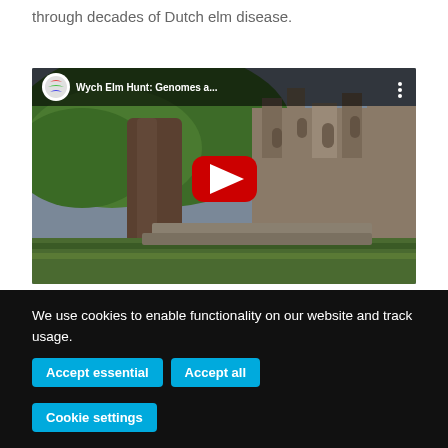through decades of Dutch elm disease.
[Figure (screenshot): YouTube video thumbnail showing a large elm tree in front of medieval abbey ruins, with YouTube play button overlay. Video title: 'Wych Elm Hunt: Genomes a...']
We use cookies to enable functionality on our website and track usage. Accept essential  Accept all  Cookie settings